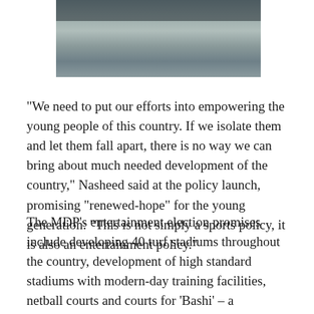[Figure (photo): Partial photo showing water or wet surface with a figure, cropped at top]
“We need to put our efforts into empowering the young people of this country. If we isolate them and let them fall apart, there is no way we can bring about much needed development of the country,” Nasheed said at the policy launch, promising “renewed-hope” for the young generation: “This is not simply a sports policy, it is also an entertainment policy.”
The MDP’s entertainment election promises include developing 40 turf stadiums throughout the country, development of high standard stadiums with modern-day training facilities, netball courts and courts for ‘Bashi’ – a traditional sport played by many women – across 60 islands.